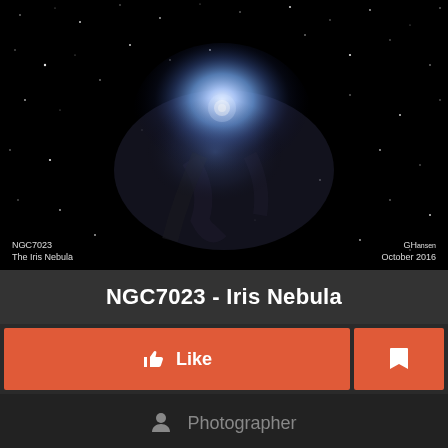[Figure (photo): Astrophotography image of NGC7023 - The Iris Nebula against a star field. Dark background with blue-white nebula cloud at center. Labels in bottom-left read 'NGC7023 The Iris Nebula' and bottom-right reads 'GH [name] October 2016'.]
NGC7023 - Iris Nebula
Like
Photographer
[Figure (photo): Partial view of bottom UI row showing green asterisk button, a photographer avatar/portrait photo, and a red plus button.]